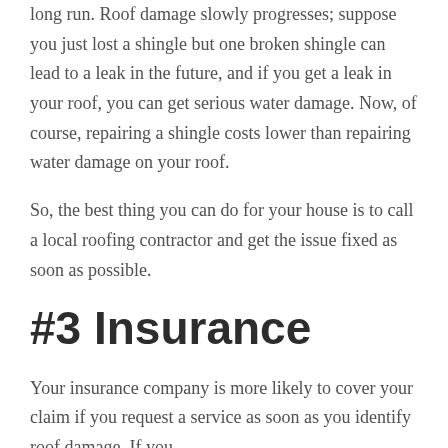long run. Roof damage slowly progresses; suppose you just lost a shingle but one broken shingle can lead to a leak in the future, and if you get a leak in your roof, you can get serious water damage. Now, of course, repairing a shingle costs lower than repairing water damage on your roof.
So, the best thing you can do for your house is to call a local roofing contractor and get the issue fixed as soon as possible.
#3 Insurance
Your insurance company is more likely to cover your claim if you request a service as soon as you identify roof damage. If you